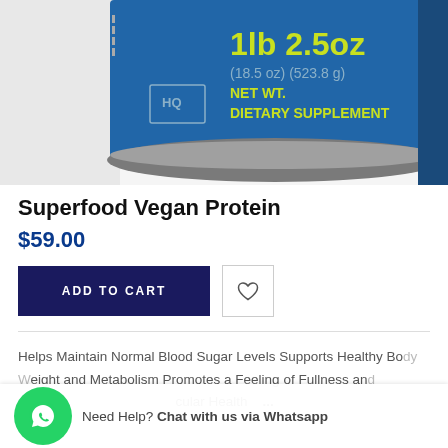[Figure (photo): Bottom portion of a blue dietary supplement container labeled '1lb 2.5oz (18.5 oz) (523.8 g) NET WT. DIETARY SUPPLEMENT' with HQ logo]
Superfood Vegan Protein
$59.00
ADD TO CART
Helps Maintain Normal Blood Sugar Levels Supports Healthy Body Weight and Metabolism Promotes a Feeling of Fullness and ... cular Health ...
Need Help? Chat with us via Whatsapp